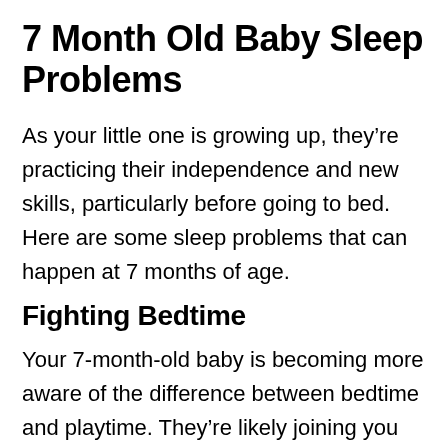7 Month Old Baby Sleep Problems
As your little one is growing up, they’re practicing their independence and new skills, particularly before going to bed. Here are some sleep problems that can happen at 7 months of age.
Fighting Bedtime
Your 7-month-old baby is becoming more aware of the difference between bedtime and playtime. They’re likely joining you on chores and visiting family and friends at this age and